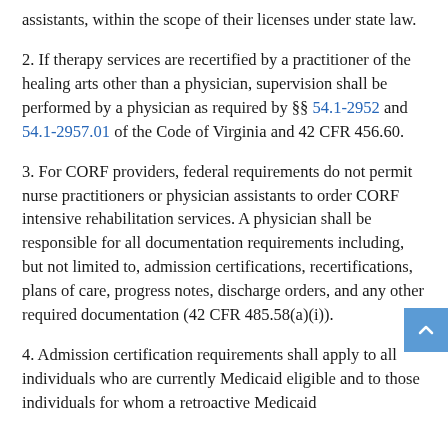assistants, within the scope of their licenses under state law.
2. If therapy services are recertified by a practitioner of the healing arts other than a physician, supervision shall be performed by a physician as required by §§ 54.1-2952 and 54.1-2957.01 of the Code of Virginia and 42 CFR 456.60.
3. For CORF providers, federal requirements do not permit nurse practitioners or physician assistants to order CORF intensive rehabilitation services. A physician shall be responsible for all documentation requirements including, but not limited to, admission certifications, recertifications, plans of care, progress notes, discharge orders, and any other required documentation (42 CFR 485.58(a)(i)).
4. Admission certification requirements shall apply to all individuals who are currently Medicaid eligible and to those individuals for whom a retroactive Medicaid